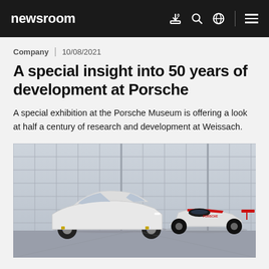newsroom
Company | 10/08/2021
A special insight into 50 years of development at Porsche
A special exhibition at the Porsche Museum is offering a look at half a century of research and development at Weissach.
[Figure (photo): Two Porsche vehicles — a white Taycan sedan and a white/red Porsche Formula E race car — displayed inside a large industrial garage with grid-style rolling doors in the background.]